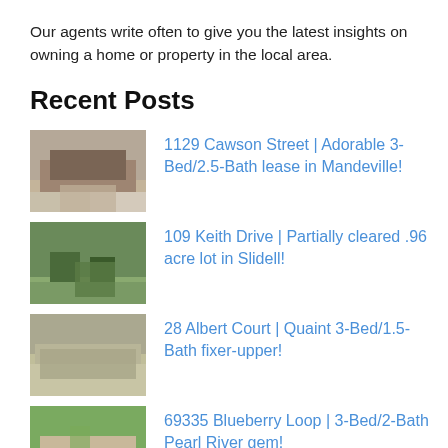Our agents write often to give you the latest insights on owning a home or property in the local area.
Recent Posts
1129 Cawson Street | Adorable 3-Bed/2.5-Bath lease in Mandeville!
109 Keith Drive | Partially cleared .96 acre lot in Slidell!
28 Albert Court | Quaint 3-Bed/1.5-Bath fixer-upper!
69335 Blueberry Loop | 3-Bed/2-Bath Pearl River gem!
712 Northlake Drive | Breathtaking waterfront lot in